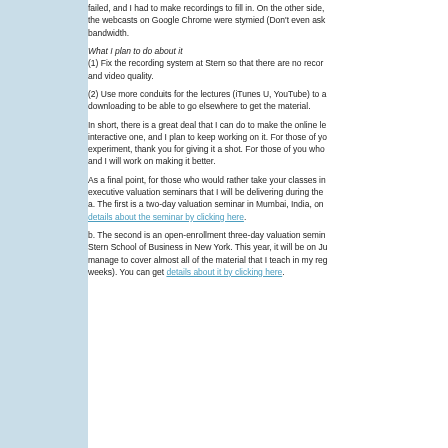failed, and I had to make recordings to fill in. On the other side, the webcasts on Google Chrome were stymied (Don't even ask bandwidth.
What I plan to do about it
(1) Fix the recording system at Stern so that there are no recording and video quality.
(2) Use more conduits for the lectures (iTunes U, YouTube) to allow downloading to be able to go elsewhere to get the material.
In short, there is a great deal that I can do to make the online learning interactive one, and I plan to keep working on it. For those of you who tried the experiment, thank you for giving it a shot. For those of you who were frustrated, and I will work on making it better.
As a final point, for those who would rather take your classes in person, I do run executive valuation seminars that I will be delivering during the year. a. The first is a two-day valuation seminar in Mumbai, India, on [details about the seminar by clicking here]. b. The second is an open-enrollment three-day valuation seminar at the Stern School of Business in New York. This year, it will be on June... manage to cover almost all of the material that I teach in my regular class (in weeks). You can get [details about it by clicking here].